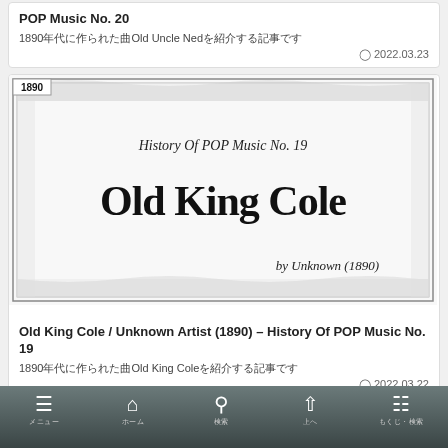POP Music No. 20
1890年代に作られた曲Old Uncle Nedを紹介する記事です
2022.03.23
[Figure (illustration): Music sheet cover image with decorative border reading 'History Of POP Music No. 19 / Old King Cole / by Unknown (1890)' with a 1890 year badge in corner]
Old King Cole / Unknown Artist (1890) – History Of POP Music No. 19
1890年代に作られた曲Old King Coleを紹介する記事です
2022.03.22
メニュー　ホーム　検索　上へ　もくじ・検索